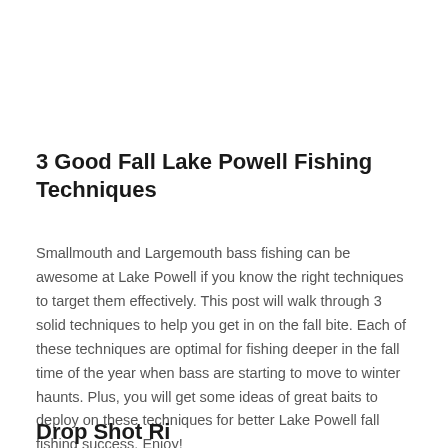3 Good Fall Lake Powell Fishing Techniques
Smallmouth and Largemouth bass fishing can be awesome at Lake Powell if you know the right techniques to target them effectively. This post will walk through 3 solid techniques to help you get in on the fall bite. Each of these techniques are optimal for fishing deeper in the fall time of the year when bass are starting to move to winter haunts. Plus, you will get some ideas of great baits to deploy on these techniques for better Lake Powell fall fishing success. Enjoy!
Drop Shot Ri...